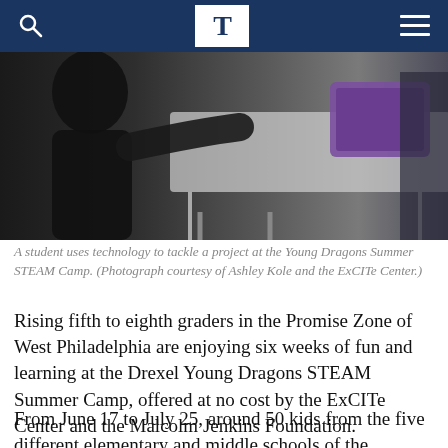T (The Triangle / Drexel University publication header with search and menu icons)
[Figure (photo): A student uses technology to tackle a project at the Young Dragons Summer STEAM Camp. Student is seated at a white table working on a device, with a tablet displaying a purple screen visible in the background.]
A student uses technology to tackle a project at the Young Dragons Summer STEAM Camp. (Photograph courtesy of Ashley Kole and the ExCITe Center.)
Rising fifth to eighth graders in the Promise Zone of West Philadelphia are enjoying six weeks of fun and learning at the Drexel Young Dragons STEAM Summer Camp, offered at no cost by the ExCITe Center and the Malcolm Jenkins Foundation.
From June 17 to July 25, around 50 kids from the five different elementary and middle schools of the Promise Zone participated in different themed activities each